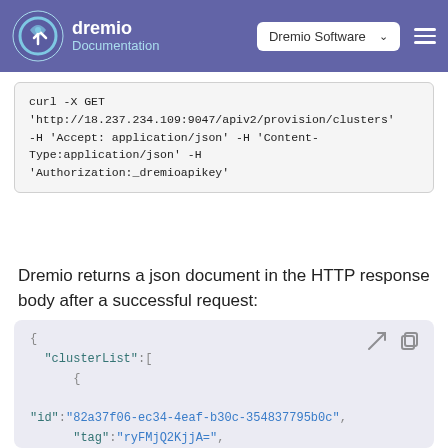dremio Documentation | Dremio Software
Dremio returns a json document in the HTTP response body after a successful request:
[Figure (screenshot): JSON code block showing clusterList response with id, tag, currentState, stateChangeTime, clusterType fields]